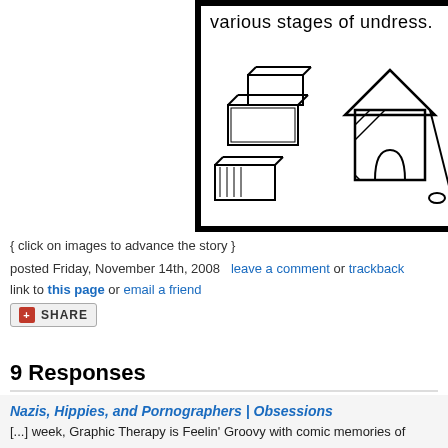[Figure (illustration): Comic strip panel showing cartoon drawings of boxes/luggage items on the left side and what appears to be a doghouse or small structure on the right, with the text 'various stages of undress.' visible at the top. Black border surrounds the panel.]
{ click on images to advance the story }
posted Friday, November 14th, 2008   leave a comment or trackback
link to this page or email a friend
SHARE
9 Responses
Nazis, Hippies, and Pornographers | Obsessions
[...] week, Graphic Therapy is Feelin' Groovy with comic memories of Hitler, age grade-school make-out dramas, and an early foray into [...]
daubach
if it takes penises and pussies to help you find your calling, then i say hoora and pussies!